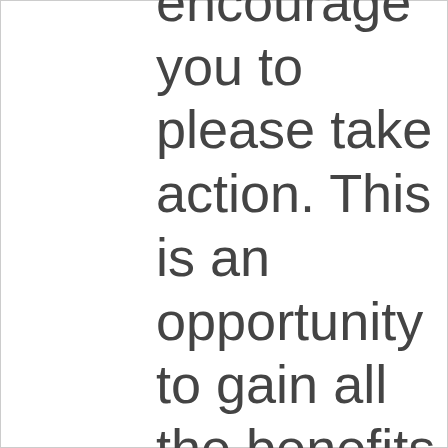encourage you to please take action. This is an opportunity to gain all the benefits that the product can offer for